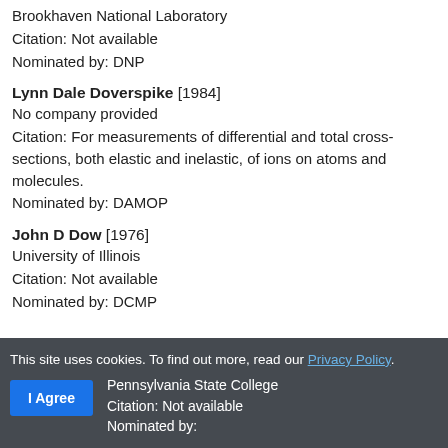Brookhaven National Laboratory
Citation: Not available
Nominated by: DNP
Lynn Dale Doverspike [1984]
No company provided
Citation: For measurements of differential and total cross-sections, both elastic and inelastic, of ions on atoms and molecules.
Nominated by: DAMOP
John D Dow [1976]
University of Illinois
Citation: Not available
Nominated by: DCMP
This site uses cookies. To find out more, read our Privacy Policy.
I Agree
Pennsylvania State College
Citation: Not available
Nominated by: